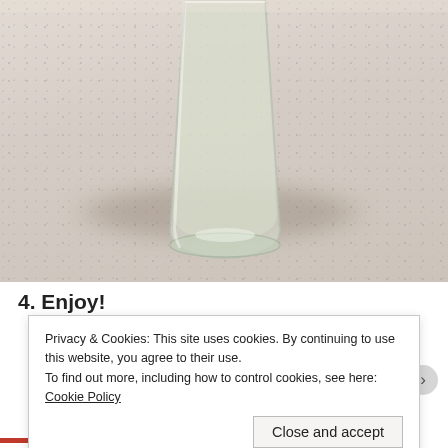[Figure (photo): Close-up photograph of a glass tumbler filled with a clear/pale liquid, placed on a speckled granite or stone surface. The glass casts a shadow to the left.]
4. Enjoy!
Privacy & Cookies: This site uses cookies. By continuing to use this website, you agree to their use.
To find out more, including how to control cookies, see here: Cookie Policy
Close and accept